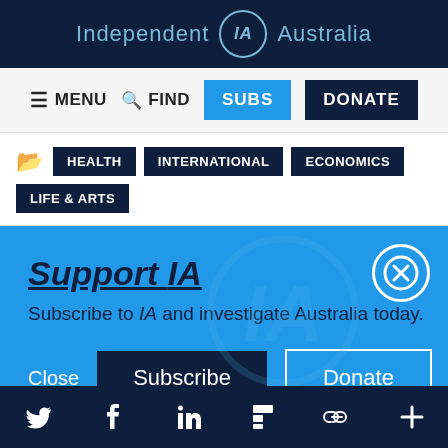Independent IA Australia
≡ MENU  🔍 FIND  SUBS  DONATE
HEALTH  INTERNATIONAL  ECONOMICS  LIFE & ARTS
Support IA
Subscribe to IA and investigate Australia today.
Close  Subscribe  Donate
Social icons: Twitter, Facebook, LinkedIn, Flipboard, Link, Plus